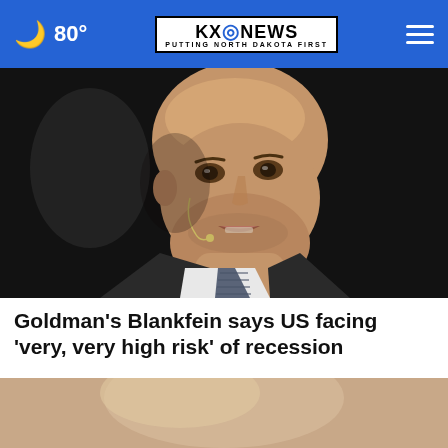🌙 80° | KXO NEWS PUTTING NORTH DAKOTA FIRST
[Figure (photo): Close-up photo of a bald man in a suit and tie wearing a small earpiece microphone, speaking at an event against a dark background.]
Goldman's Blankfein says US facing 'very, very high risk' of recession
[Figure (photo): Partial close-up photo showing an advertisement overlay: 'WHAT IS YOUR KID FEELING? GET SONGS TO SOUND IT OUT.' with Sound It Out and Ad Council / Pivotal branding.]